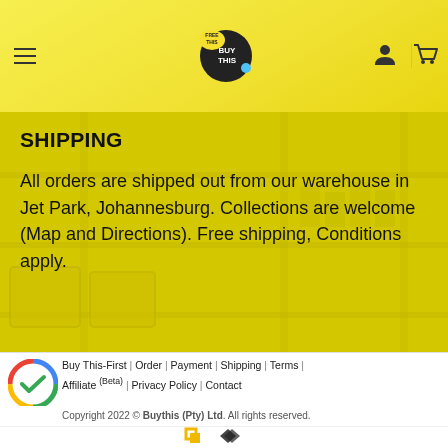BUY THIS (Free This) — navigation header with hamburger menu, logo, user icon, and cart icon
SHIPPING
All orders are shipped out from our warehouse in Jet Park, Johannesburg. Collections are welcome (Map and Directions). Free shipping, Conditions apply.
Buy This-First | Order | Payment | Shipping | Terms | Affiliate (Beta) | Privacy Policy | Contact
Copyright 2022 © Buythis (Pty) Ltd. All rights reserved.
[Figure (logo): Google review / verified checkmark badge logo (circular with green checkmark and Google colors)]
[Figure (logo): Two small brand icons at bottom of page]